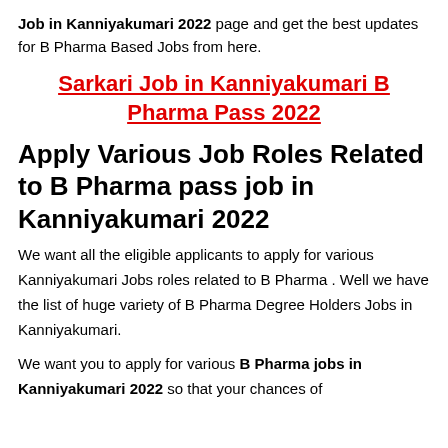Job in Kanniyakumari 2022 page and get the best updates for B Pharma Based Jobs from here.
Sarkari Job in Kanniyakumari B Pharma Pass 2022
Apply Various Job Roles Related to B Pharma pass job in Kanniyakumari 2022
We want all the eligible applicants to apply for various Kanniyakumari Jobs roles related to B Pharma . Well we have the list of huge variety of B Pharma Degree Holders Jobs in Kanniyakumari.
We want you to apply for various B Pharma jobs in Kanniyakumari 2022 so that your chances of